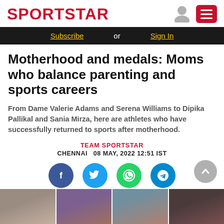SPORTSTAR
Subscribe or Sign In
Motherhood and medals: Moms who balance parenting and sports careers
From Dame Valerie Adams and Serena Williams to Dipika Pallikal and Sania Mirza, here are athletes who have successfully returned to sports after motherhood.
TEAM SPORTSTAR
CHENNAI  08 MAY, 2022 12:51 IST
[Figure (infographic): Social share buttons: Facebook, Twitter, WhatsApp, Telegram]
[Figure (photo): Photo strip showing four female athletes]